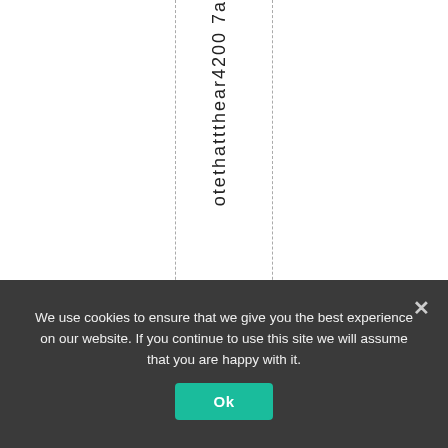otethattthear4200 7a
We use cookies to ensure that we give you the best experience on our website. If you continue to use this site we will assume that you are happy with it. Ok